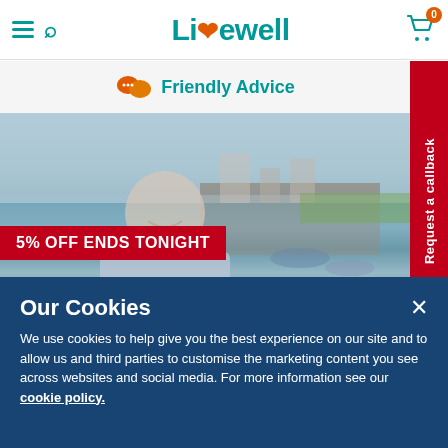Livewell — navigation header with hamburger menu, search icon, logo, and cart (0 items)
Friendly Advice
[Figure (photo): Hero image of a smiling middle-aged man in a light blue shirt standing near a harbor/marina with water, boats, and a pier in the background. A red promotional banner reads '5% OFF ENDS TONIGHT'.]
5% OFF ENDS TONIGHT
Our Cookies
We use cookies to help give you the best experience on our site and to allow us and third parties to customise the marketing content you see across websites and social media. For more information see our cookie policy.